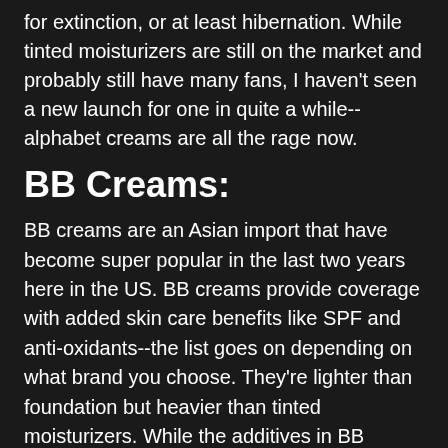for extinction, or at least hibernation. While tinted moisturizers are still on the market and probably still have many fans, I haven't seen a new launch for one in quite a while--alphabet creams are all the rage now.
BB Creams:
BB creams are an Asian import that have become super popular in the last two years here in the US. BB creams provide coverage with added skin care benefits like SPF and anti-oxidants--the list goes on depending on what brand you choose. They're lighter than foundation but heavier than tinted moisturizers. While the additives in BB creams can have the same efficacy as they would in stand-alone serums, be careful about counting on BB creams for adequate sun protection. "My only concern is that since BB cream is generally tinted, women use less on their face,"